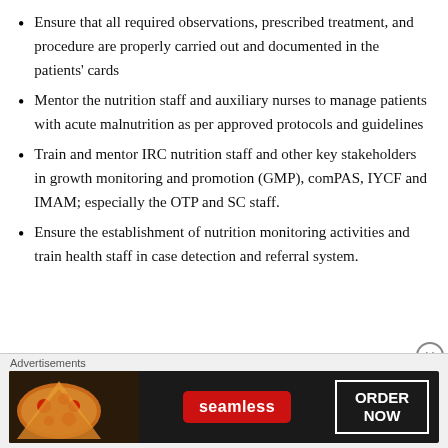Ensure that all required observations, prescribed treatment, and procedure are properly carried out and documented in the patients' cards
Mentor the nutrition staff and auxiliary nurses to manage patients with acute malnutrition as per approved protocols and guidelines
Train and mentor IRC nutrition staff and other key stakeholders in growth monitoring and promotion (GMP), comPAS, IYCF and IMAM; especially the OTP and SC staff.
Ensure the establishment of nutrition monitoring activities and train health staff in case detection and referral system.
[Figure (other): Advertisement banner for Seamless food ordering service with pizza image, Seamless logo in red, and ORDER NOW button]